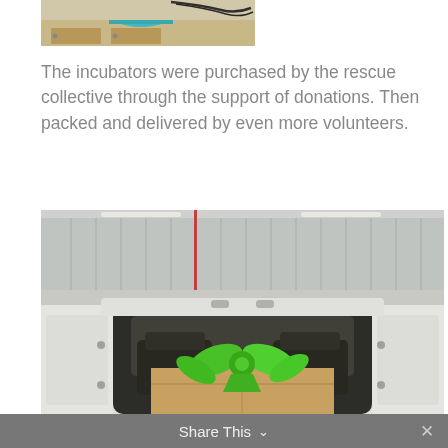[Figure (photo): Partial photo of incubators or lab equipment on a counter, showing teal/turquoise roller and drawers, cropped at top of page]
The incubators were purchased by the rescue collective through the support of donations. Then packed and delivered by even more volunteers.
[Figure (photo): Photo of the open rear doors of a white van parked inside a large metal warehouse/shed. A cardboard box with a large green bow/ribbon sits inside the van. Two black seats are visible through the van opening.]
Share This ∨  ✕